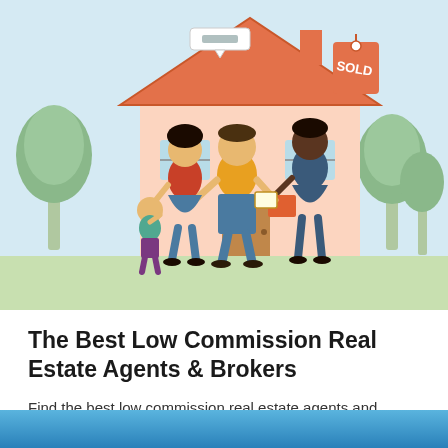[Figure (illustration): Illustrated scene of a family (two adults, one child) with a real estate agent in front of a house with a SOLD tag. Trees in the background, light blue/teal background.]
The Best Low Commission Real Estate Agents & Brokers
Find the best low commission real estate agents and brokers, so you can sell with a full-service realtor and save thousands on commission fees!
Josiah Wilmoth
Read More